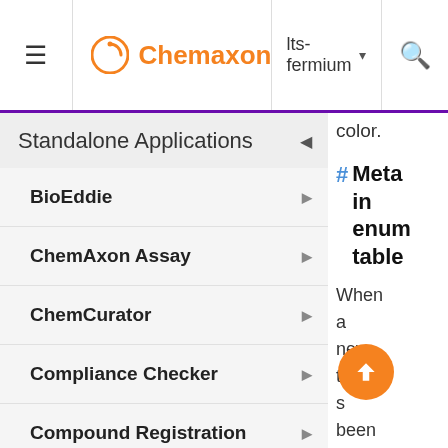Chemaxon — lts-fermium
Standalone Applications
BioEddie
ChemAxon Assay
ChemCurator
Compliance Checker
Compound Registration
Instant JChem
Markush Editor
Design Hub
color.
# Meta in enum table
When a new table s been create